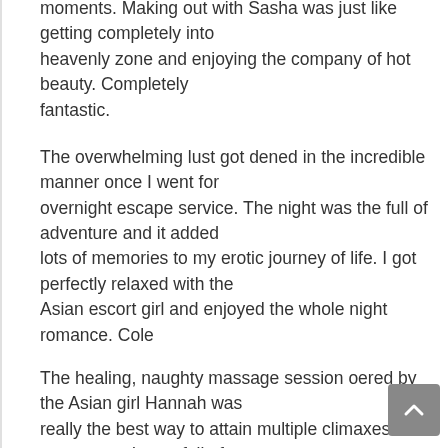ever best fun moments. Making out with Sasha was just like getting completely into heavenly zone and enjoying the company of hot beauty. Completely fantastic.
The overwhelming lust got dened in the incredible manner once I went for overnight escape service. The night was the full of adventure and it added lots of memories to my erotic journey of life. I got perfectly relaxed with the Asian escort girl and enjoyed the whole night romance. Cole
The healing, naughty massage session oered by the Asian girl Hannah was really the best way to attain multiple climaxes in easy ways. It was full of passion as the girl was a perfect package of adult